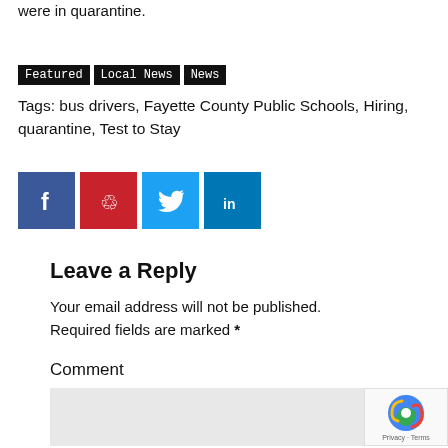were in quarantine.
Featured
Local News
News
Tags: bus drivers, Fayette County Public Schools, Hiring, quarantine, Test to Stay
[Figure (other): Social share buttons: Facebook (blue), Pinterest (red), Twitter (light blue), LinkedIn (dark blue)]
Leave a Reply
Your email address will not be published. Required fields are marked *
Comment